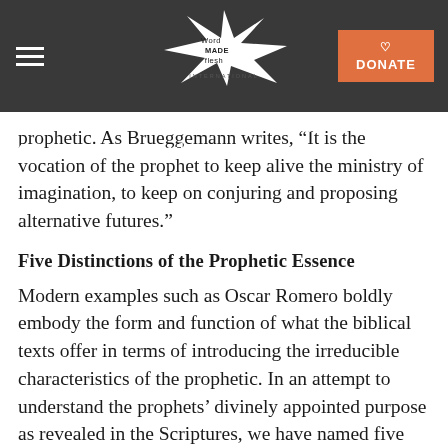and hopeful. This reality and calling, grounded in our solidarity with th… and our commitm… church, provides t… k for our service… among the poor to t… simultaneously remain
Word Made Flesh International — Navigation bar with logo and DONATE button
prophetic. As Brueggemann writes, “It is the vocation of the prophet to keep alive the ministry of imagination, to keep on conjuring and proposing alternative futures.”
Five Distinctions of the Prophetic Essence
Modern examples such as Oscar Romero boldly embody the form and function of what the biblical texts offer in terms of introducing the irreducible characteristics of the prophetic. In an attempt to understand the prophets’ divinely appointed purpose as revealed in the Scriptures, we have named five distinctions. These are mere signposts to help guide this study of the prophets’ multifaceted attributes and responsibilities. We present the clearest defining features of the prophetic essence: the office, the function, the nature, the